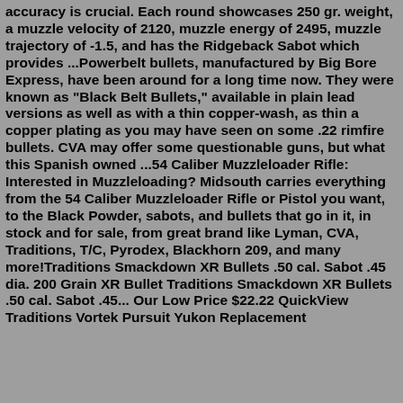accuracy is crucial. Each round showcases 250 gr. weight, a muzzle velocity of 2120, muzzle energy of 2495, muzzle trajectory of -1.5, and has the Ridgeback Sabot which provides ...Powerbelt bullets, manufactured by Big Bore Express, have been around for a long time now. They were known as "Black Belt Bullets," available in plain lead versions as well as with a thin copper-wash, as thin a copper plating as you may have seen on some .22 rimfire bullets. CVA may offer some questionable guns, but what this Spanish owned ...54 Caliber Muzzleloader Rifle: Interested in Muzzleloading? Midsouth carries everything from the 54 Caliber Muzzleloader Rifle or Pistol you want, to the Black Powder, sabots, and bullets that go in it, in stock and for sale, from great brand like Lyman, CVA, Traditions, T/C, Pyrodex, Blackhorn 209, and many more!Traditions Smackdown XR Bullets .50 cal. Sabot .45 dia. 200 Grain XR Bullet Traditions Smackdown XR Bullets .50 cal. Sabot .45... Our Low Price $22.22 QuickView Traditions Vortek Pursuit Yukon Replacement